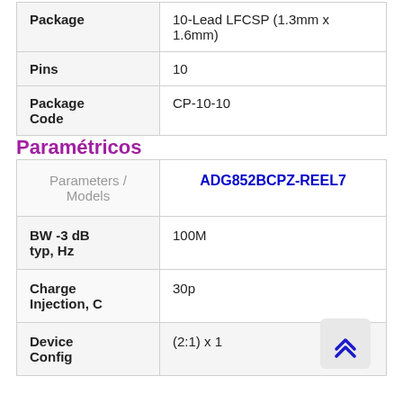|  |  |
| --- | --- |
| Package | 10-Lead LFCSP (1.3mm x 1.6mm) |
| Pins | 10 |
| Package Code | CP-10-10 |
Paramétricos
| Parameters / Models | ADG852BCPZ-REEL7 |
| --- | --- |
| BW -3 dB typ, Hz | 100M |
| Charge Injection, C | 30p |
| Device Config | (2:1) x 1 |